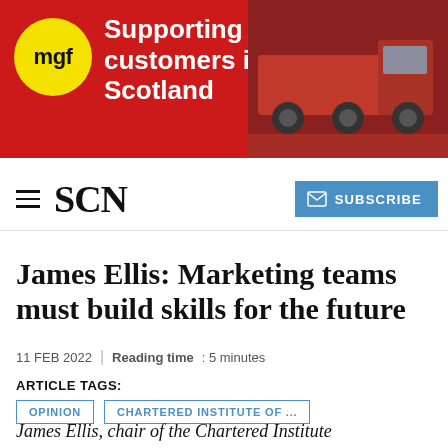[Figure (illustration): MGF advertisement banner with red background, yellow circle with MGF logo on left, white bold text reading 'Supporting our customers in Scotland', and a red truck photo on the right side.]
SCN
James Ellis: Marketing teams must build skills for the future
11 FEB 2022 | Reading time: 5 minutes
ARTICLE TAGS:
OPINION
CHARTERED INSTITUTE OF ...
James Ellis, chair of the Chartered Institute